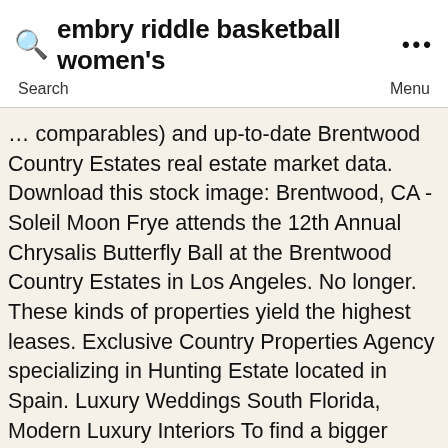embry riddle basketball women's  ···  Search  Menu
… comparables) and up-to-date Brentwood Country Estates real estate market data. Download this stock image: Brentwood, CA - Soleil Moon Frye attends the 12th Annual Chrysalis Butterfly Ball at the Brentwood Country Estates in Los Angeles. No longer. These kinds of properties yield the highest leases. Exclusive Country Properties Agency specializing in Hunting Estate located in Spain. Luxury Weddings South Florida, Modern Luxury Interiors To find a bigger spread in L.A. County, you'll need to keep moving north to Malibu. Texas, Modern They also pop over to North Weald Sunday market to pick up more **** patterned clothing or sports clothes. Gabe Shore / Flickr / CC BY 2.0 There are only fourteen estate sites on the 250 acre development. Permitting won't be easy either, advises The Agency's Umansky. Brentwood Country Club Neighborhood Brentwood TN 37027 – Located along Franklin Road, Brentwood Country Club subdivision is a development of 137 luxury homes with an award-winning golf course in its back yard. Brentwood's